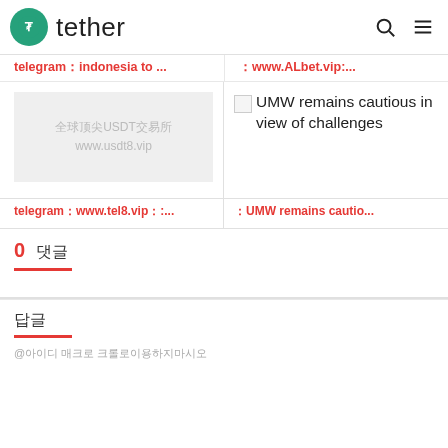tether
telegram：indonesia to ... | ：www.ALbet.vip...
[Figure (illustration): Placeholder image with Chinese text: 全球顶尖USDT交易所 www.usdt8.vip]
[Figure (illustration): Broken image icon followed by text: UMW remains cautious in view of challenges]
telegram：www.tel8.vip：...
：UMW remains cautio...
0 댓글
답글
@아이디 매크로 크롤로이용하지마시오